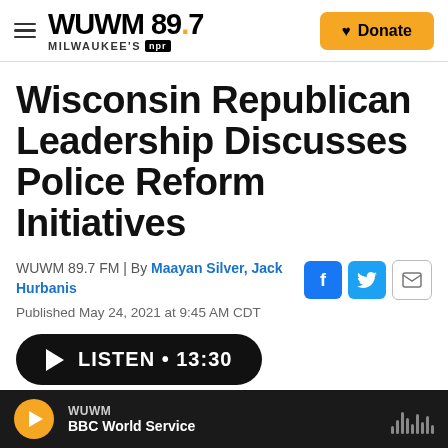WUWM 89.7 MILWAUKEE'S NPR — Donate
Wisconsin Republican Leadership Discusses Police Reform Initiatives
WUWM 89.7 FM | By Maayan Silver, Jack Hurbanis
Published May 24, 2021 at 9:45 AM CDT
LISTEN • 13:30
WUWM — BBC World Service